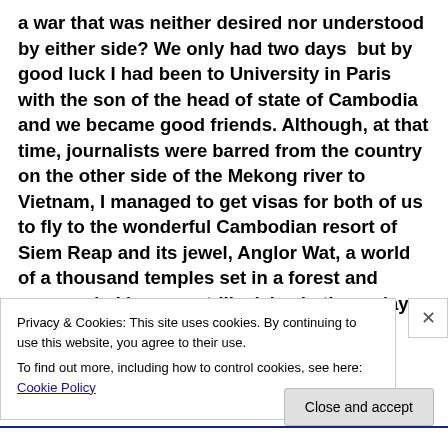a war that was neither desired nor understood by either side? We only had two days  but by good luck I had been to University in Paris with the son of the head of state of Cambodia and we became good friends. Although, at that time, journalists were barred from the country on the other side of the Mekong river to Vietnam, I managed to get visas for both of us to fly to the wonderful Cambodian resort of Siem Reap and its jewel, Anglor Wat, a world of a thousand temples set in a forest and surrounded by a moat-like lake. In those days only a few tourists could visit those
Privacy & Cookies: This site uses cookies. By continuing to use this website, you agree to their use.
To find out more, including how to control cookies, see here: Cookie Policy
Close and accept